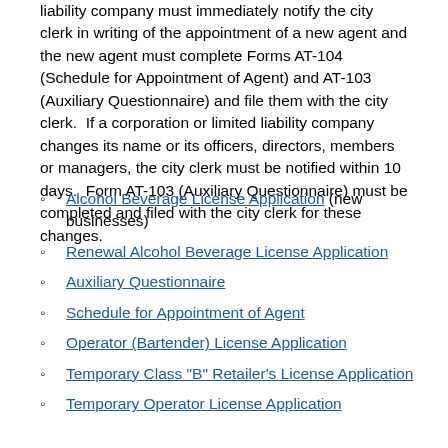liability company must immediately notify the city clerk in writing of the appointment of a new agent and the new agent must complete Forms AT-104 (Schedule for Appointment of Agent) and AT-103 (Auxiliary Questionnaire) and file them with the city clerk.  If a corporation or limited liability company changes its name or its officers, directors, members or managers, the city clerk must be notified within 10 days.  Form AT-103 (Auxiliary Questionnaire) must be completed and filed with the city clerk for these changes.
Alcohol Beverage License Application (new businesses)
Renewal Alcohol Beverage License Application
Auxiliary Questionnaire
Schedule for Appointment of Agent
Operator (Bartender) License Application
Temporary Class "B" Retailer's License Application
Temporary Operator License Application